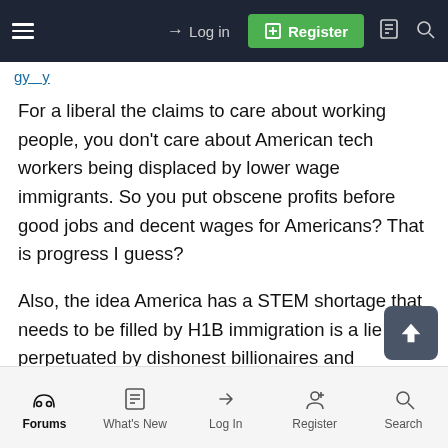Log in | Register
For a liberal the claims to care about working people, you don't care about American tech workers being displaced by lower wage immigrants. So you put obscene profits before good jobs and decent wages for Americans? That is progress I guess?
Also, the idea America has a STEM shortage that needs to be filled by H1B immigration is a lie perpetuated by dishonest billionaires and greedy/unethical tech CEOs.
Forums | What's New | Log In | Register | Search